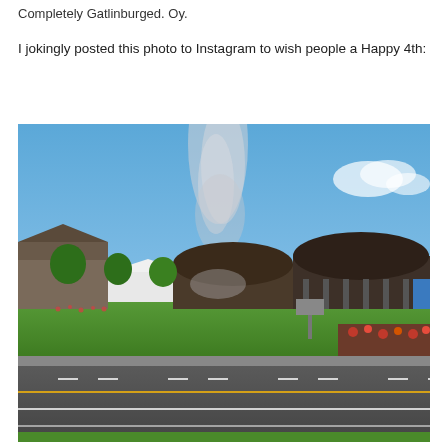Completely Gatlinburged. Oy.
I jokingly posted this photo to Instagram to wish people a Happy 4th:
[Figure (photo): Outdoor daytime photo showing a road in the foreground, a green lawn area, buildings with arched roofs, a crowd of people, trees, and a tall plume of smoke or mist rising into a clear blue sky. Appears to be near Niagara Falls tourist area.]